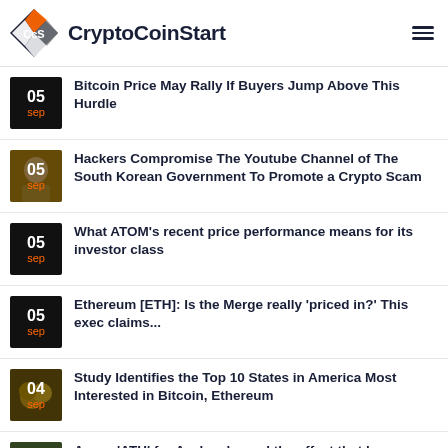CryptoCoinStart
05 Sep – Bitcoin Price May Rally If Buyers Jump Above This Hurdle
05 Sep – Hackers Compromise The Youtube Channel of The South Korean Government To Promote a Crypto Scam
05 Sep – What ATOM's recent price performance means for its investor class
05 Sep – Ethereum [ETH]: Is the Merge really 'priced in?' This exec claims...
04 Sep – Study Identifies the Top 10 States in America Most Interested in Bitcoin, Ethereum
04 Sep – A new 'ATH' for Avalanche and the effect that has on AVAX's performance is